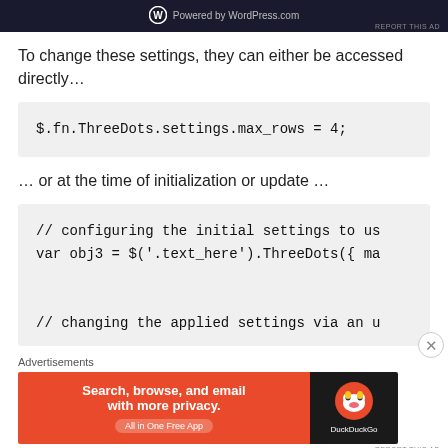[Figure (screenshot): WordPress.com powered by advertisement banner with dark background]
To change these settings, they can either be accessed directly…
… or at the time of initialization or update …
Advertisements
[Figure (screenshot): DuckDuckGo advertisement banner: Search, browse, and email with more privacy. All in One Free App]